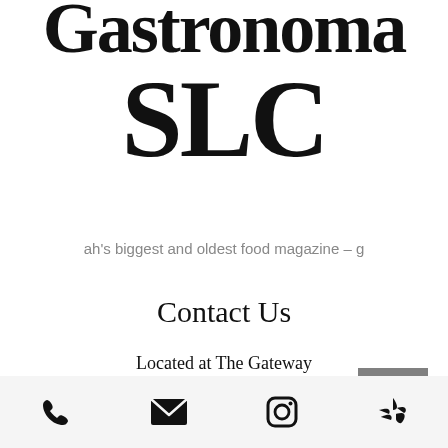Gastronoma SLC
ah's biggest and oldest food magazine – g
Contact Us
Located at The Gateway
159 S Rio Grande St, Salt Lake City, Utah 84101
[Figure (infographic): Back to top arrow button (upward caret) on grey square background]
[Figure (infographic): Footer bar with four social/contact icons: phone, email, Instagram, Yelp]